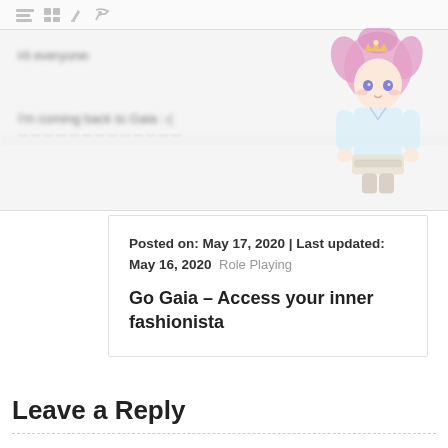[Figure (screenshot): Blurred screenshot of a blog post editor/content area showing toolbar icons and blurred text 'Hi everyone:' and 'I'm coming back to Gaia :(' with a pink-haired anime avatar character on the right side]
Posted on: May 17, 2020 | Last updated: May 16, 2020   Role Playing
Go Gaia – Access your inner fashionista
Leave a Reply